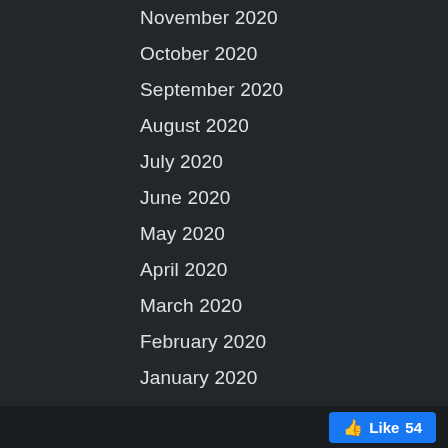November 2020
October 2020
September 2020
August 2020
July 2020
June 2020
May 2020
April 2020
March 2020
February 2020
January 2020
December 2019
November 2019
October 2019
September 2019
August 2019
June 2019
May 2019
Like 54